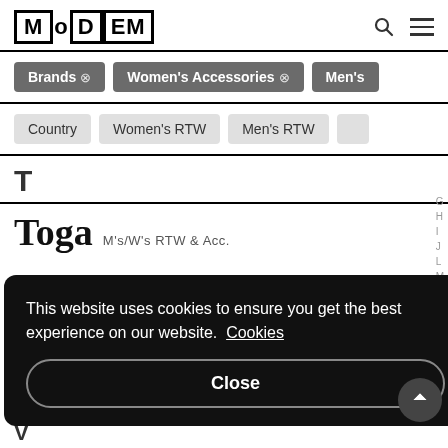MODEM
Brands × | Women's Accessories × | Men's
Country | Women's RTW | Men's RTW
T
Toga  M's/W's RTW & Acc.
This website uses cookies to ensure you get the best experience on our website. Cookies
Close
V